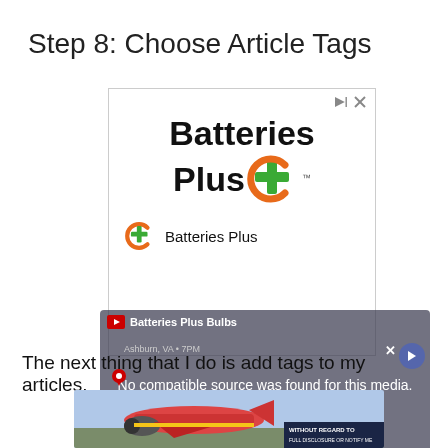Step 8: Choose Article Tags
[Figure (screenshot): Batteries Plus advertisement banner with orange circular logo and green plus sign, showing 'Batteries Plus' text in large bold black font]
[Figure (screenshot): Video player overlay showing 'Batteries Plus Bulbs' title with map pin icon, navigation arrow button, message 'No compatible source was found for this media.', Google label, and X close button]
The next thing that I do is add tags to my articles.
[Figure (photo): Bottom advertisement showing airplane/aircraft image with 'WITHOUT REGARD TO' text badge in dark blue in bottom right corner]